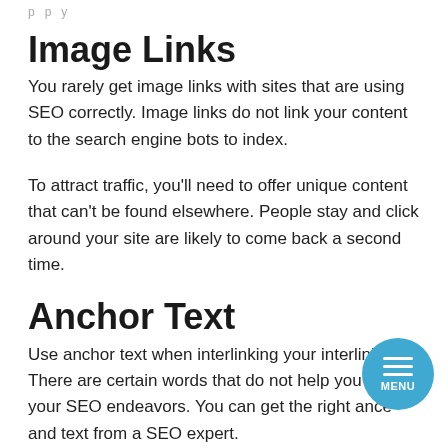p p y
Image Links
You rarely get image links with sites that are using SEO correctly. Image links do not link your content to the search engine bots to index.
To attract traffic, you'll need to offer unique content that can't be found elsewhere. People stay and click around your site are likely to come back a second time.
Anchor Text
Use anchor text when interlinking your interlinks. There are certain words that do not help you with your SEO endeavors. You can get the right advice and text from a SEO expert.